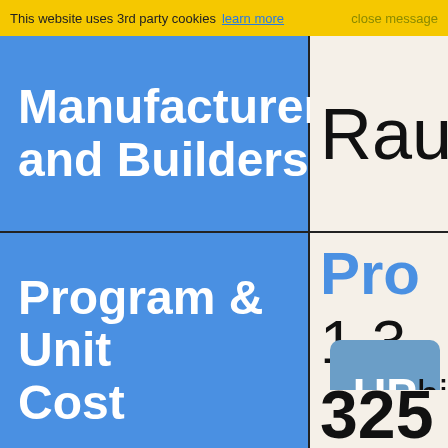This website uses 3rd party cookies  learn more  close message
Manufacturer and Builders
Rau
Pro
1.3
Program & Unit Cost
UP
hi
325